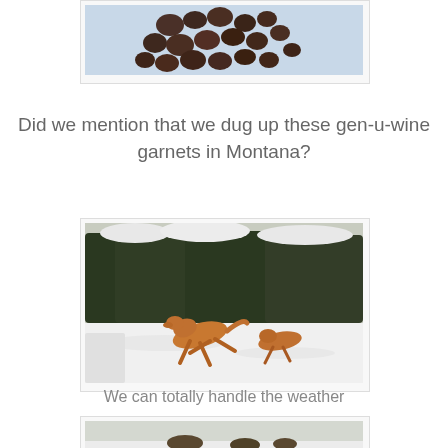[Figure (photo): Pile of dark reddish-brown garnets on a light blue background, viewed from above]
Did we mention that we dug up these gen-u-wine garnets in Montana?
[Figure (photo): Two coyotes running through snow in front of snow-covered evergreen shrubs]
We can totally handle the weather
[Figure (photo): Partial view of another snowy scene with animals]